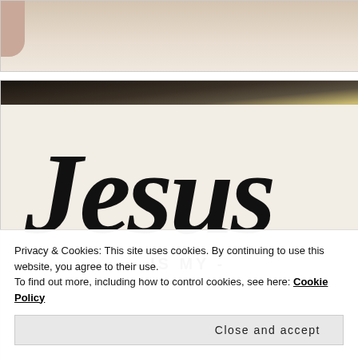[Figure (photo): Partial view of a hand holding or touching something, cropped at top of page. Skin tones visible against light background.]
[Figure (photo): Close-up photo of a decorative sign with cursive script reading 'Jesus' in large letters and '- IS MY -' in smaller block letters below, on a textured white/cream background with dark wooden or metallic top edge visible.]
Privacy & Cookies: This site uses cookies. By continuing to use this website, you agree to their use.
To find out more, including how to control cookies, see here: Cookie Policy
Close and accept